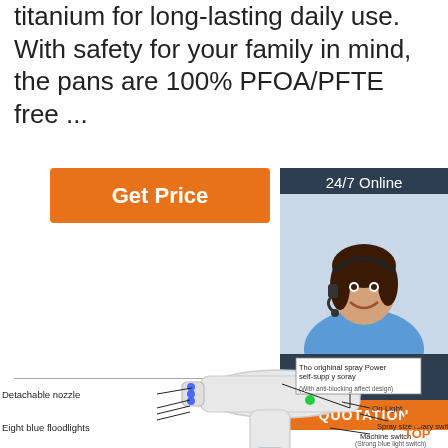titanium for long-lasting daily use. With safety for your family in mind, the pans are 100% PFOA/PFTE free ...
[Figure (other): Orange 'Get Price' button on white background]
[Figure (photo): Customer service representative smiling, wearing a headset. Dark header bar reads '24/7 Online'. Below: 'Click here for free chat!' with orange QUOTATION button.]
[Figure (engineering-diagram): Labeled diagram of a handheld spray device (nano gun) showing: Detachable nozzle, Eight blue floodlights, The original spray Power self-supply spray (With anti-blocking affect design), On Light, Spray size rotary switch, Machine switch (Strong blue light switch). A 'TOP' logo with orange dots appears bottom-right.]